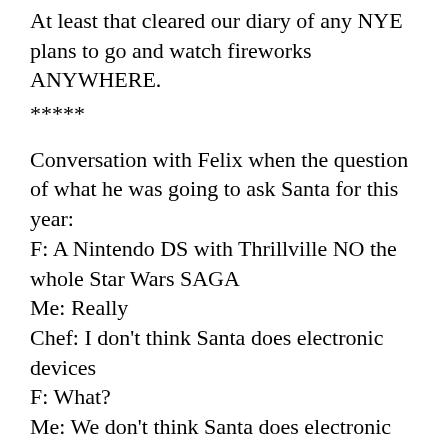At least that cleared our diary of any NYE plans to go and watch fireworks ANYWHERE.
*****
Conversation with Felix when the question of what he was going to ask Santa for this year:
F: A Nintendo DS with Thrillville NO the whole Star Wars SAGA
Me: Really
Chef: I don’t think Santa does electronic devices
F: What?
Me: We don’t think Santa does electronic devices
F: Well we’ll see Mum, we’ll see.